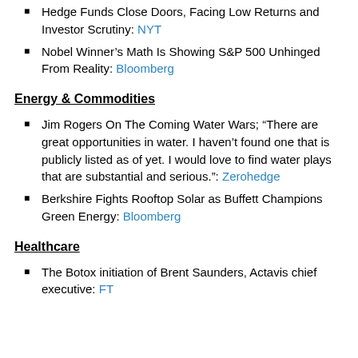Hedge Funds Close Doors, Facing Low Returns and Investor Scrutiny: NYT
Nobel Winner's Math Is Showing S&P 500 Unhinged From Reality: Bloomberg
Energy & Commodities
Jim Rogers On The Coming Water Wars; “There are great opportunities in water. I haven’t found one that is publicly listed as of yet. I would love to find water plays that are substantial and serious.”: Zerohedge
Berkshire Fights Rooftop Solar as Buffett Champions Green Energy: Bloomberg
Healthcare
The Botox initiation of Brent Saunders, Actavis chief executive: FT